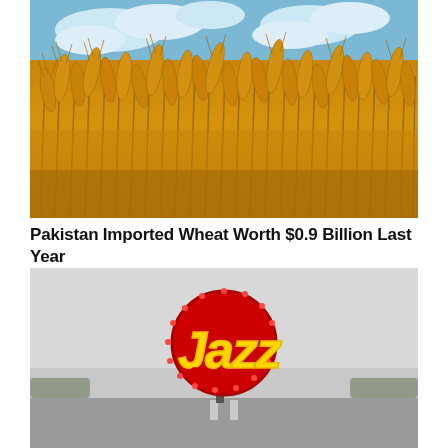[Figure (photo): Close-up photograph of golden wheat stalks in a field under a blue sky with white clouds]
Pakistan Imported Wheat Worth $0.9 Billion Last Year
[Figure (photo): Jazz telecom logo — a red circular sign with yellow stylized 'Jazz' lettering, on a highway road with grey sky and distant trees]